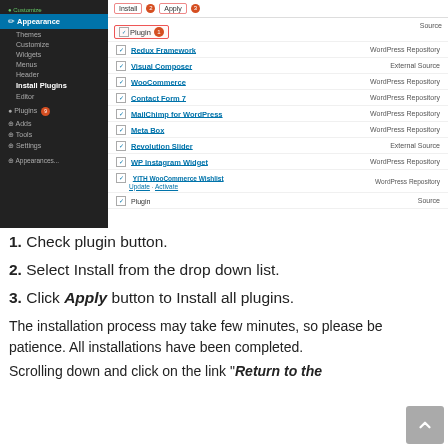[Figure (screenshot): WordPress admin panel showing a plugin installation list with checkboxes. Left sidebar shows dark WordPress admin menu with Appearance highlighted and Install Plugins bold. Main panel shows list of plugins: Redux Framework (WordPress Repository), Visual Composer (External Source), WooCommerce (WordPress Repository), Contact Form 7 (WordPress Repository), MailChimp for WordPress (WordPress Repository), Meta Box (WordPress Repository), Revolution Slider (External Source), WP Instagram Widget (WordPress Repository), YITH WooCommerce Wishlist Update / Activate (WordPress Repository), Plugin (Source). Top toolbar shows Install and Apply buttons with red badges. A Plugin dropdown with red badge and number 1 is highlighted.]
1. Check plugin button.
2. Select Install from the drop down list.
3. Click Apply button to Install all plugins.
The installation process may take few minutes, so please be patience. All installations have been completed.
Scrolling down and click on the link “Return to the Dashboard” to go back to Dashboard.